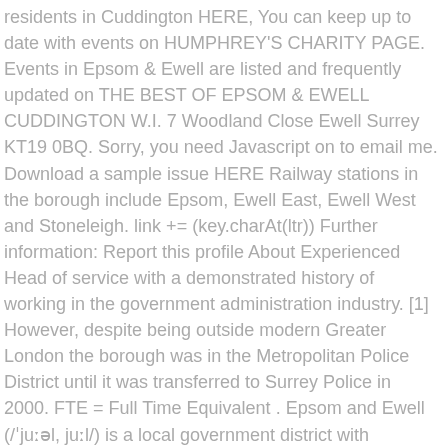residents in Cuddington HERE, You can keep up to date with events on HUMPHREY'S CHARITY PAGE. Events in Epsom & Ewell are listed and frequently updated on THE BEST OF EPSOM & EWELL CUDDINGTON W.I. 7 Woodland Close Ewell Surrey KT19 0BQ. Sorry, you need Javascript on to email me. Download a sample issue HERE Railway stations in the borough include Epsom, Ewell East, Ewell West and Stoneleigh. link += (key.charAt(ltr)) Further information: Report this profile About Experienced Head of service with a demonstrated history of working in the government administration industry. [1] However, despite being outside modern Greater London the borough was in the Metropolitan Police District until it was transferred to Surrey Police in 2000. FTE = Full Time Equivalent . Epsom and Ewell (/ˈjuːəl, juːl/) is a local government district with borough status in Surrey, England, covering the towns of Epsom and Ewell. If you are troubled by litter and want to start a task force in your street, GET IN TOUCH. © CRA. else { Home. Most services were